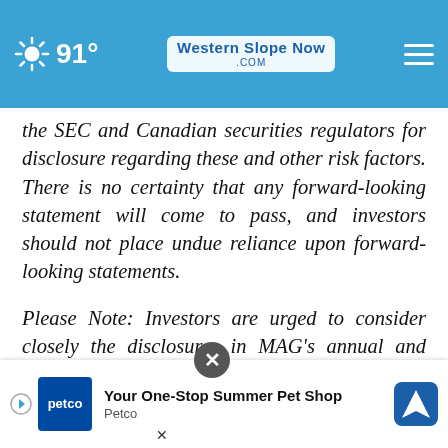[Figure (screenshot): Website header bar with weather icon showing sun at 91°F, WesternSlopeNow.com logo in center, and hamburger menu icon on right, all on a blue background]
the SEC and Canadian securities regulators for disclosure regarding these and other risk factors. There is no certainty that any forward-looking statement will come to pass, and investors should not place undue reliance upon forward-looking statements.
Please Note: Investors are urged to consider closely the disclosures in MAG's annual and quarterly reports and other public filings, accessed at www.sedar.com and www.sec.gov.
[Figure (other): Advertisement overlay at bottom: Petco ad reading 'Your One-Stop Summer Pet Shop' with Petco logo and navigation arrow icon]